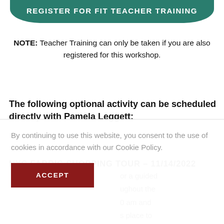REGISTER FOR FIT TEACHER TRAINING
NOTE: Teacher Training can only be taken if you are also registered for this workshop.
The following optional activity can be scheduled directly with Pamela Leggett:
NYC FABRIC SHOPPING TOUR – 11/14/2022
or a guided ughout the 0 am and s place to ch more! ood (Project her stores
By continuing to use this website, you consent to the use of cookies in accordance with our Cookie Policy.
ACCEPT